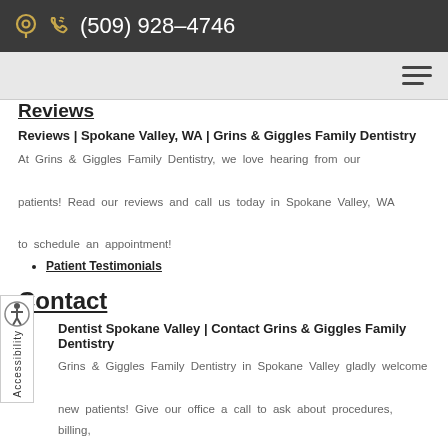(509) 928-4746
Reviews
Reviews | Spokane Valley, WA | Grins & Giggles Family Dentistry
At Grins & Giggles Family Dentistry, we love hearing from our patients! Read our reviews and call us today in Spokane Valley, WA to schedule an appointment!
Patient Testimonials
Contact
Dentist Spokane Valley | Contact Grins & Giggles Family Dentistry
Grins & Giggles Family Dentistry in Spokane Valley gladly welcome new patients! Give our office a call to ask about procedures, billing, or any other questions!
Contact Us
Meet Dr. Mostafa Kabbani